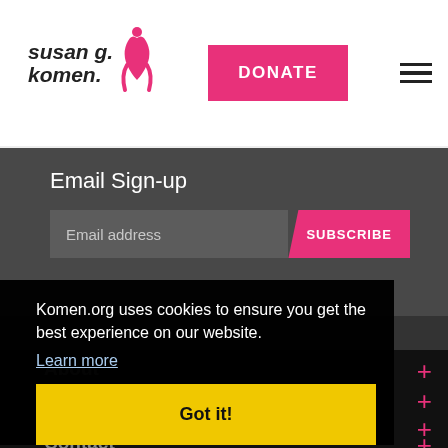[Figure (logo): Susan G. Komen breast cancer organization logo with pink ribbon]
DONATE
Email Sign-up
Email address
SUBSCRIBE
About
Komen.org uses cookies to ensure you get the best experience on our website.
Learn more
Explore
Blog
Got it!
Contact